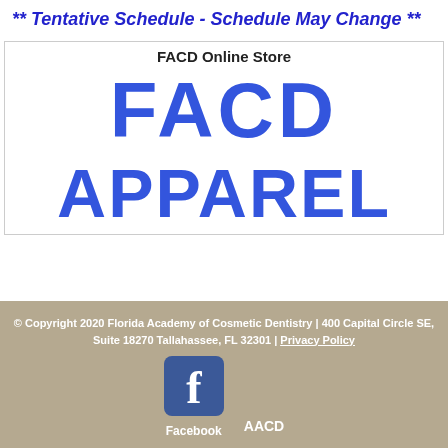** Tentative Schedule - Schedule May Change **
[Figure (logo): FACD Apparel logo with text 'FACD Online Store' above and stylized blue block letters spelling 'FACD APPAREL']
© Copyright 2020 Florida Academy of Cosmetic Dentistry | 400 Capital Circle SE, Suite 18270 Tallahassee, FL 32301 | Privacy Policy
[Figure (logo): Facebook icon (blue square with white 'f') labeled 'Facebook' below]
AACD